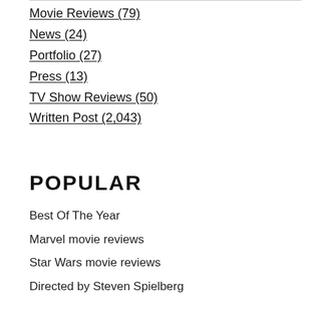Movie Reviews (79)
News (24)
Portfolio (27)
Press (13)
TV Show Reviews (50)
Written Post (2,043)
POPULAR
Best Of The Year
Marvel movie reviews
Star Wars movie reviews
Directed by Steven Spielberg